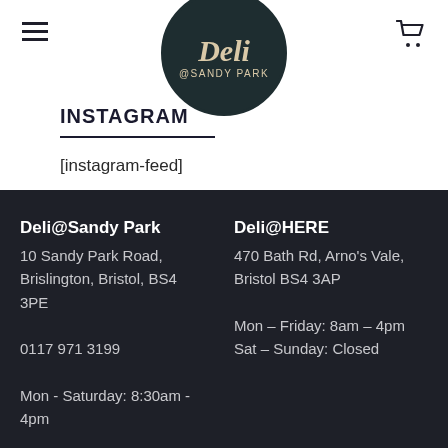Deli @SANDY PARK
INSTAGRAM
[instagram-feed]
Deli@Sandy Park
10 Sandy Park Road, Brislington, Bristol, BS4 3PE

0117 971 3199

Mon - Saturday: 8:30am - 4pm
Deli@HERE
470 Bath Rd, Arno's Vale, Bristol BS4 3AP

Mon – Friday: 8am – 4pm
Sat – Sunday: Closed